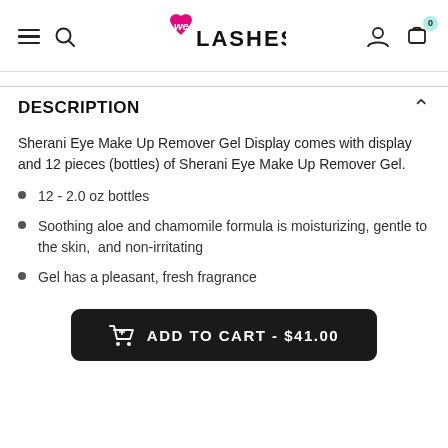We Love Lashes - navigation header with hamburger menu, search, logo, user icon, and cart (0)
DESCRIPTION
Sherani Eye Make Up Remover Gel Display comes with display and 12 pieces (bottles) of Sherani Eye Make Up Remover Gel.
12 - 2.0 oz bottles
Soothing aloe and chamomile formula is moisturizing, gentle to the skin,  and non-irritating
Gel has a pleasant, fresh fragrance
ADD TO CART - $41.00